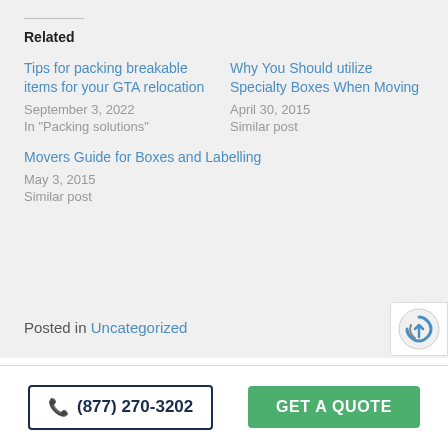Related
Tips for packing breakable items for your GTA relocation
September 3, 2022
In "Packing solutions"
Why You Should utilize Specialty Boxes When Moving
April 30, 2015
Similar post
Movers Guide for Boxes and Labelling
May 3, 2015
Similar post
Posted in Uncategorized
(877) 270-3202   GET A QUOTE